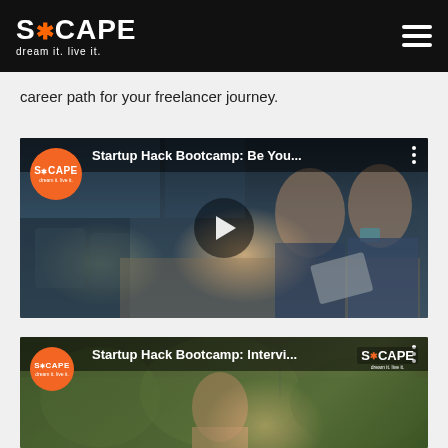S*CAPE dream it. live it.
career path for your freelancer journey.
[Figure (screenshot): YouTube-style embedded video thumbnail showing two young women working at a desk in an office, one wearing a face mask. Title bar reads 'Startup Hack Bootcamp: Be You...' with SCAPE orange logo badge and three-dot menu. A play button is visible in the center.]
[Figure (screenshot): YouTube-style embedded video thumbnail showing a woman outdoors with greenery background. Title bar reads 'Startup Hack Bootcamp: Intervi...' with SCAPE orange logo badge and three-dot menu. SCAPE logo also visible top-right.]